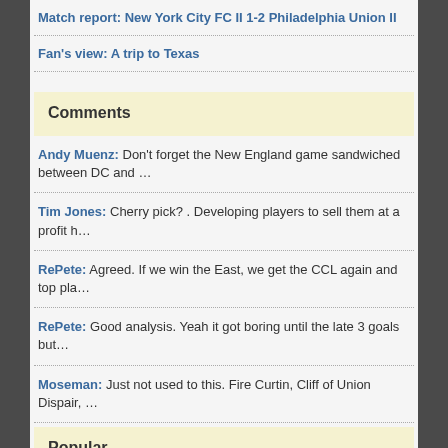Match report: New York City FC II 1-2 Philadelphia Union II
Fan's view: A trip to Texas
Comments
Andy Muenz: Don't forget the New England game sandwiched between DC and …
Tim Jones: Cherry pick? . Developing players to sell them at a profit h…
RePete: Agreed. If we win the East, we get the CCL again and top pla…
RePete: Good analysis. Yeah it got boring until the late 3 goals but…
Moseman: Just not used to this. Fire Curtin, Cliff of Union Dispair, …
Popular